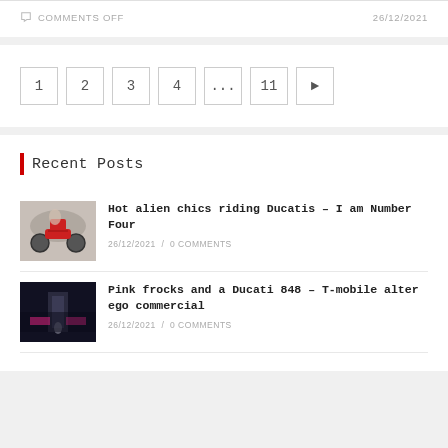COMMENTS OFF  26/12/2021
1  2  3  4  ...  11  >
Recent Posts
Hot alien chics riding Ducatis – I am Number Four
26/12/2021 / 0 COMMENTS
Pink frocks and a Ducati 848 – T-mobile alter ego commercial
26/12/2021 / 0 COMMENTS